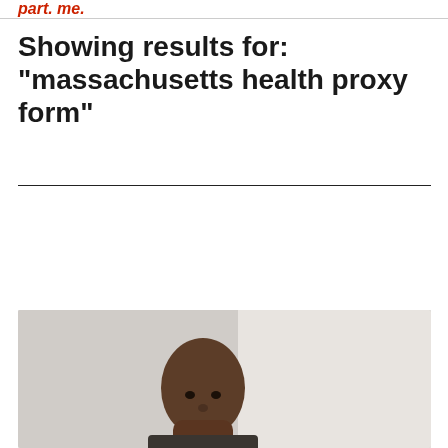part. me.
Showing results for: “massachusetts health proxy form”
[Figure (screenshot): Search input box with placeholder text 'Search' and magnifying glass icon, followed by an 'All Categories' dropdown selector]
[Figure (photo): Partial photo of a man's face and upper body, appearing at the bottom of the page, cropped at the bottom edge]